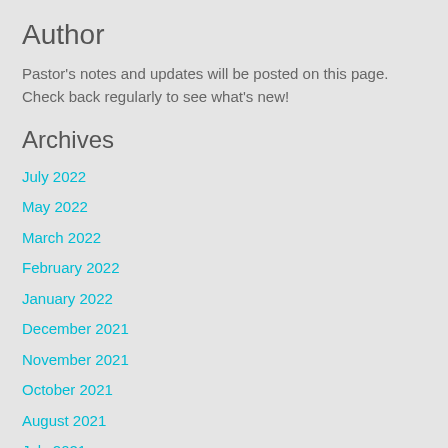Author
Pastor's notes and updates will be posted on this page.  Check back regularly to see what's new!
Archives
July 2022
May 2022
March 2022
February 2022
January 2022
December 2021
November 2021
October 2021
August 2021
July 2021
June 2021
May 2021
April 2021
March 2021